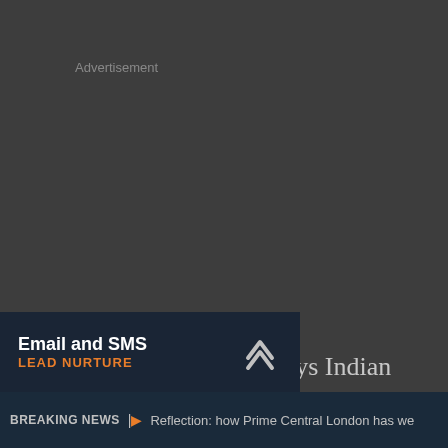Advertisement
Just two years ago, LCP says Indian buyers purchases.
Email and SMS LEAD NURTURE
BREAKING NEWS | Reflection: how Prime Central London has we...